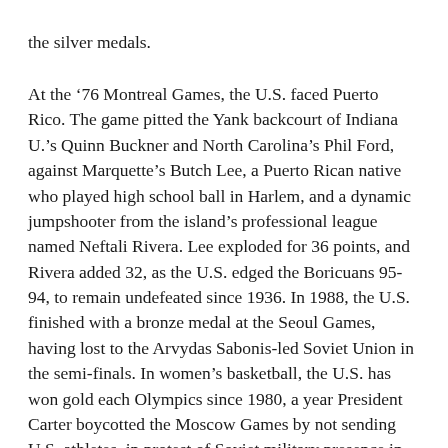the silver medals.
At the ’76 Montreal Games, the U.S. faced Puerto Rico. The game pitted the Yank backcourt of Indiana U.’s Quinn Buckner and North Carolina’s Phil Ford, against Marquette’s Butch Lee, a Puerto Rican native who played high school ball in Harlem, and a dynamic jumpshooter from the island’s professional league named Neftali Rivera. Lee exploded for 36 points, and Rivera added 32, as the U.S. edged the Boricuans 95-94, to remain undefeated since 1936. In 1988, the U.S. finished with a bronze medal at the Seoul Games, having lost to the Arvydas Sabonis-led Soviet Union in the semi-finals. In women’s basketball, the U.S. has won gold each Olympics since 1980, a year President Carter boycotted the Moscow Games by not sending U.S. athletes, in protest of Soviet military presence in Afghanistan.